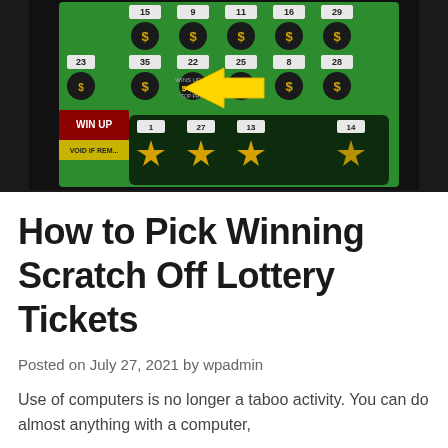[Figure (photo): Close-up photo of a green scratch-off lottery ticket being held, showing numbered circles with dollar signs, a yellow arrow pointing to '$4MIL' text, and gold stars at the bottom row. Numbers visible include 15, 9, 11, 16, 29, 35, 22, 25, 8, 28, 23, and bottom row 1, 27, 13, 14.]
How to Pick Winning Scratch Off Lottery Tickets
Posted on July 27, 2021 by wpadmin
Use of computers is no longer a taboo activity. You can do almost anything with a computer,